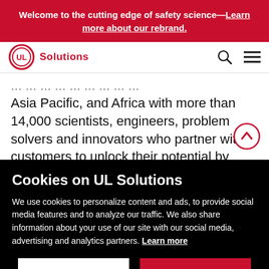Welcome to the cutting edge of safety science—Learn more about our rebrand.
[Figure (logo): UL Solutions logo: red circle with UL letters, followed by 'Solutions' text in red]
Asia Pacific, and Africa with more than 14,000 scientists, engineers, problem solvers and innovators who partner with customers to unlock their potential by empowering them to demonstrate safety, enhance...
Cookies on UL Solutions
We use cookies to personalize content and ads, to provide social media features and to analyze our traffic. We also share information about your use of our site with our social media, advertising and analytics partners. Learn more